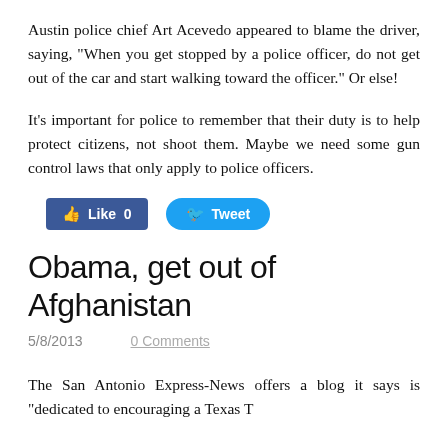Austin police chief Art Acevedo appeared to blame the driver, saying, "When you get stopped by a police officer, do not get out of the car and start walking toward the officer." Or else!
It's important for police to remember that their duty is to help protect citizens, not shoot them. Maybe we need some gun control laws that only apply to police officers.
[Figure (other): Social media buttons: Facebook Like (count 0) and Twitter Tweet button]
Obama, get out of Afghanistan
5/8/2013    0 Comments
The San Antonio Express-News offers a blog it says is "dedicated to encouraging a Texas-Texas...